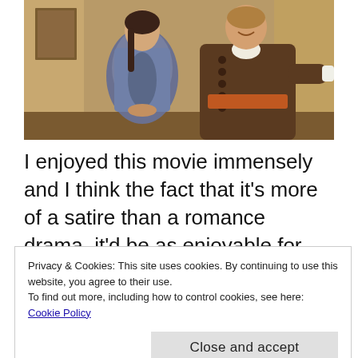[Figure (photo): Two people in period costume (18th century style) standing in an ornate interior room. A woman in a gray/blue dress with braided hair and a man in a brown double-breasted coat with an orange sash, smiling.]
I enjoyed this movie immensely and I think the fact that it's more of a satire than a romance drama, it'd be as enjoyable for those who are
Privacy & Cookies: This site uses cookies. By continuing to use this website, you agree to their use.
To find out more, including how to control cookies, see here: Cookie Policy
Close and accept
shines in the lead role with her beauty and wit.